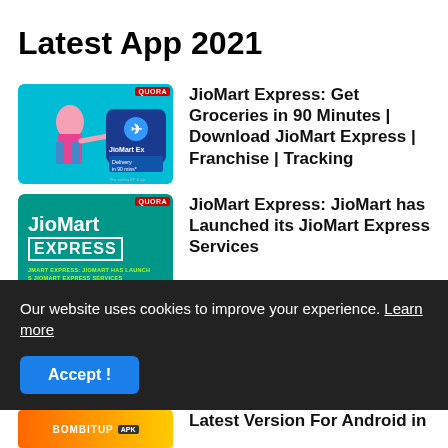Latest App 2021
JioMart Express: Get Groceries in 90 Minutes | Download JioMart Express | Franchise | Tracking
JioMart Express: JioMart has Launched its JioMart Express Services
After WhatsApp, Instagram, Messenger, Facebook will also...
Our website uses cookies to improve your experience. Learn more
Accept!
Latest Version For Android in...